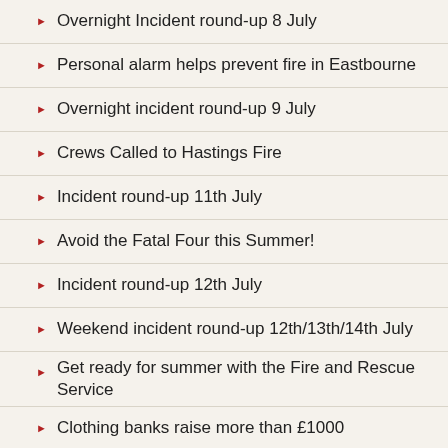Overnight Incident round-up 8 July
Personal alarm helps prevent fire in Eastbourne
Overnight incident round-up 9 July
Crews Called to Hastings Fire
Incident round-up 11th July
Avoid the Fatal Four this Summer!
Incident round-up 12th July
Weekend incident round-up 12th/13th/14th July
Get ready for summer with the Fire and Rescue Service
Clothing banks raise more than £1000